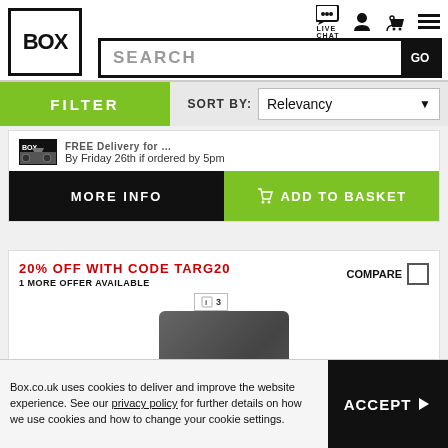[Figure (logo): BOX logo in square border]
SEARCH
LIVE CHAT icon, person icon, cart icon, menu icon
FILTER
SORT BY: Relevancy
FREE Delivery. By Friday 26th if ordered by 5pm
MORE INFO
ADD TO BASKET
20% OFF WITH CODE TARG20
1 MORE OFFER AVAILABLE
COMPARE
[Figure (photo): Dark grey laptop sleeve/case product image]
Box.co.uk uses cookies to deliver and improve the website experience. See our privacy policy for further details on how we use cookies and how to change your cookie settings.
ACCEPT